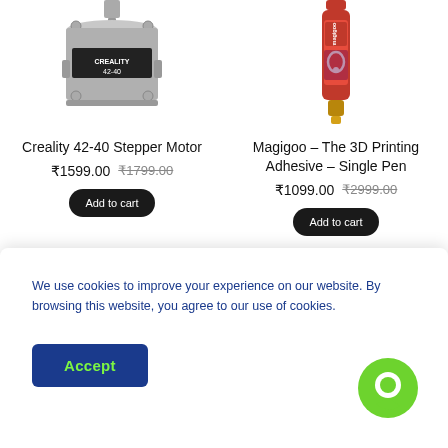[Figure (photo): Creality 42-40 Stepper Motor product photo, metallic grey stepper motor with label]
Creality 42-40 Stepper Motor
₹1599.00  ₹1799.00
Add to cart
[Figure (photo): Magigoo – The 3D Printing Adhesive – Single Pen product photo, red pen-shaped bottle]
Magigoo – The 3D Printing Adhesive – Single Pen
₹1099.00  ₹2999.00
Add to cart
We use cookies to improve your experience on our website. By browsing this website, you agree to our use of cookies.
Accept